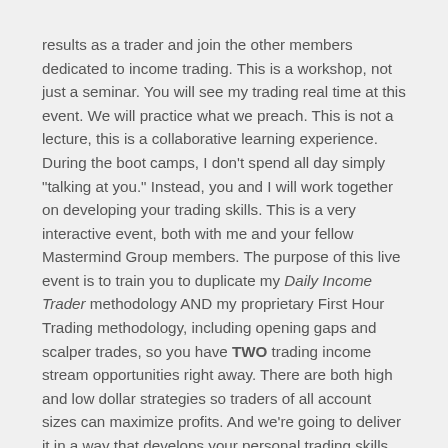results as a trader and join the other members dedicated to income trading. This is a workshop, not just a seminar. You will see my trading real time at this event. We will practice what we preach. This is not a lecture, this is a collaborative learning experience. During the boot camps, I don't spend all day simply "talking at you." Instead, you and I will work together on developing your trading skills. This is a very interactive event, both with me and your fellow Mastermind Group members. The purpose of this live event is to train you to duplicate my Daily Income Trader methodology AND my proprietary First Hour Trading methodology, including opening gaps and scalper trades, so you have TWO trading income stream opportunities right away. There are both high and low dollar strategies so traders of all account sizes can maximize profits. And we're going to deliver it in a way that develops your personal trading skills